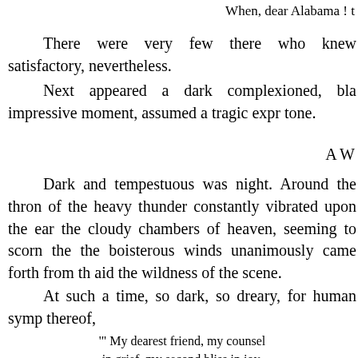When, dear Alabama ! t
There were very few there who knew satisfactory, nevertheless.
Next appeared a dark complexioned, bla impressive moment, assumed a tragic expr tone.
A W
Dark and tempestuous was night. Around the thron of the heavy thunder constantly vibrated upon the ear the cloudy chambers of heaven, seeming to scorn the the boisterous winds unanimously came forth from th aid the wildness of the scene.
At such a time, so dark, so dreary, for human symp thereof,
"' My dearest friend, my counsel in grief, my second bliss in joy,
She moved like one of those bright beings pictured in